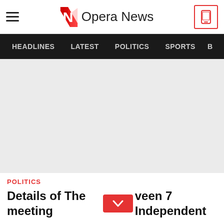Opera News
HEADLINES   LATEST   POLITICS   SPORTS
[Figure (photo): Large grey placeholder image area for article]
POLITICS
Details of The meeting between 7 Independent